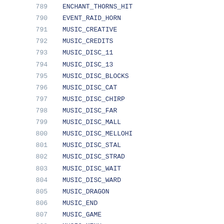| # | Name |
| --- | --- |
| 789 | ENCHANT_THORNS_HIT |
| 790 | EVENT_RAID_HORN |
| 791 | MUSIC_CREATIVE |
| 792 | MUSIC_CREDITS |
| 793 | MUSIC_DISC_11 |
| 794 | MUSIC_DISC_13 |
| 795 | MUSIC_DISC_BLOCKS |
| 796 | MUSIC_DISC_CAT |
| 797 | MUSIC_DISC_CHIRP |
| 798 | MUSIC_DISC_FAR |
| 799 | MUSIC_DISC_MALL |
| 800 | MUSIC_DISC_MELLOHI |
| 801 | MUSIC_DISC_STAL |
| 802 | MUSIC_DISC_STRAD |
| 803 | MUSIC_DISC_WAIT |
| 804 | MUSIC_DISC_WARD |
| 805 | MUSIC_DRAGON |
| 806 | MUSIC_END |
| 807 | MUSIC_GAME |
| 808 | MUSIC_MENU |
| 809 | MUSIC_NETHER |
| 810 | MUSIC_UNDER_WATER |
| 811 | UI_BUTTON_CLICK |